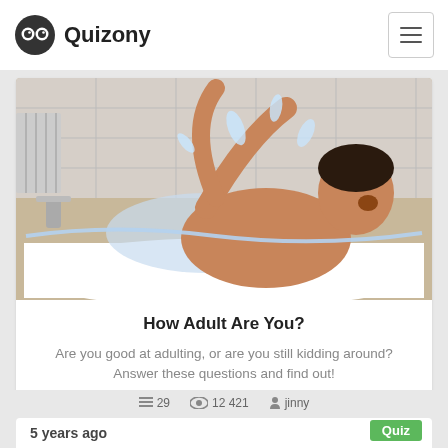Quizony
[Figure (photo): Man in a bathtub playing energetically with a rubber duck, splashing water, laughing with mouth open, reaching upward]
How Adult Are You?
Are you good at adulting, or are you still kidding around? Answer these questions and find out!
29  12 421  jinny
5 years ago
Quiz